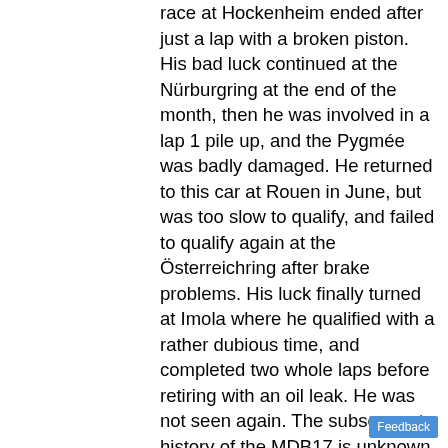race at Hockenheim ended after just a lap with a broken piston. His bad luck continued at the Nürburgring at the end of the month, then he was involved in a lap 1 pile up, and the Pygmée was badly damaged. He returned to this car at Rouen in June, but was too slow to qualify, and failed to qualify again at the Österreichring after brake problems. His luck finally turned at Imola where he qualified with a rather dubious time, and completed two whole laps before retiring with an oil leak. He was not seen again. The subsequent history of the MDB17 is unknown, but Didier Martin has been quoted that both the Duarte and Pace MDB17s went to Marc Regal. Gérard Gamand lists the car as being with Edouard Géraud (who also owned MDB16 271 and MDB17 272) in 1995, and then in a private collection in southwest France in 2010.